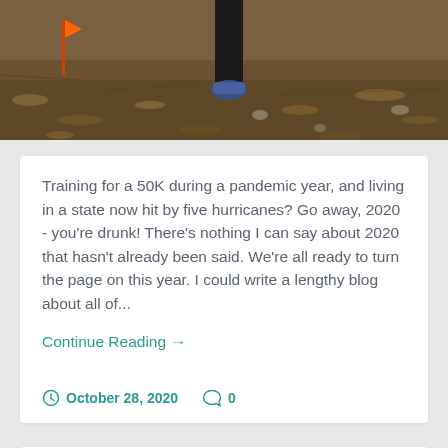[Figure (photo): Top portion of photo showing a runner's feet/legs on a dirt trail with leaves and gravel on the ground. A small orange flag marker is visible on the left.]
Training for a 50K during a pandemic year, and living in a state now hit by five hurricanes? Go away, 2020 - you're drunk! There's nothing I can say about 2020 that hasn't already been said. We're all ready to turn the page on this year. I could write a lengthy blog about all of...
Continue Reading →
October 28, 2020   0
It's Not OK